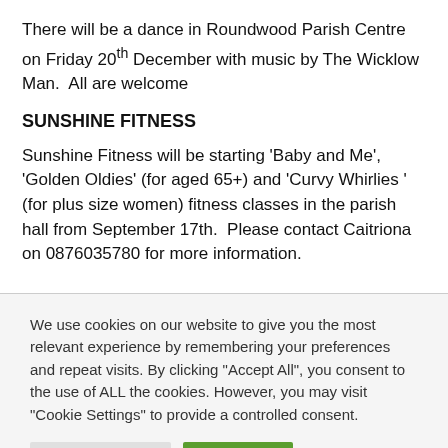There will be a dance in Roundwood Parish Centre on Friday 20th December with music by The Wicklow Man.  All are welcome
SUNSHINE FITNESS
Sunshine Fitness will be starting 'Baby and Me', 'Golden Oldies' (for aged 65+) and 'Curvy Whirlies ' (for plus size women) fitness classes in the parish hall from September 17th.  Please contact Caitriona on 0876035780 for more information.
We use cookies on our website to give you the most relevant experience by remembering your preferences and repeat visits. By clicking "Accept All", you consent to the use of ALL the cookies. However, you may visit "Cookie Settings" to provide a controlled consent.